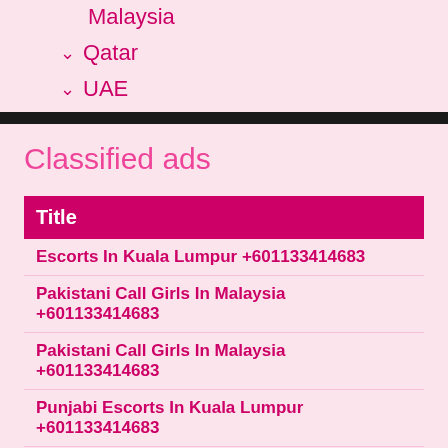Malaysia
Qatar
UAE
Classified ads
| Title |
| --- |
| Escorts In Kuala Lumpur +601133414683 |
| Pakistani Call Girls In Malaysia +601133414683 |
| Pakistani Call Girls In Malaysia +601133414683 |
| Punjabi Escorts In Kuala Lumpur +601133414683 |
| Bukit Bintang Escorts Services +919910499063 |
| Pakistani Call Girls In Bukit Bintang +919910499063 |